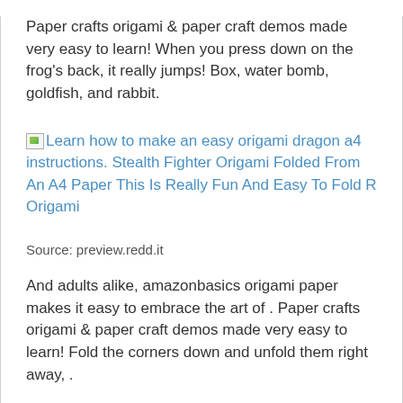Paper crafts origami & paper craft demos made very easy to learn! When you press down on the frog's back, it really jumps! Box, water bomb, goldfish, and rabbit.
[Figure (other): Broken image icon followed by hyperlink text: Learn how to make an easy origami dragon a4 instructions. Stealth Fighter Origami Folded From An A4 Paper This Is Really Fun And Easy To Fold R Origami]
Source: preview.redd.it
And adults alike, amazonbasics origami paper makes it easy to embrace the art of . Paper crafts origami & paper craft demos made very easy to learn! Fold the corners down and unfold them right away, .